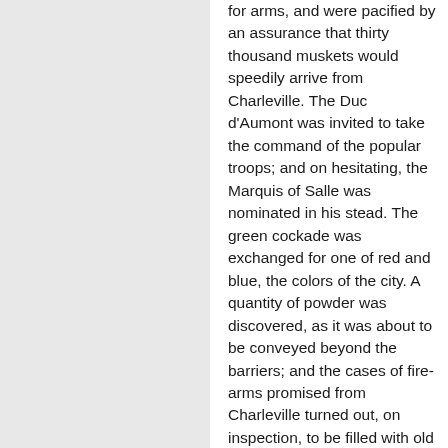for arms, and were pacified by an assurance that thirty thousand muskets would speedily arrive from Charleville. The Duc d'Aumont was invited to take the command of the popular troops; and on hesitating, the Marquis of Salle was nominated in his stead. The green cockade was exchanged for one of red and blue, the colors of the city. A quantity of powder was discovered, as it was about to be conveyed beyond the barriers; and the cases of fire-arms promised from Charleville turned out, on inspection, to be filled with old rags and logs of wood. The rage and impatience of the multitude now became extreme. Such perverse, trifling, and barefaced duplicity would be unaccountable anywhere else; but in France they pay